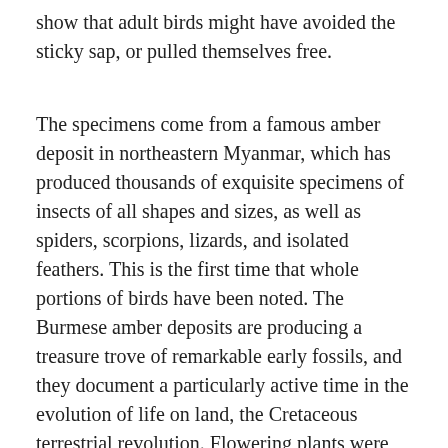show that adult birds might have avoided the sticky sap, or pulled themselves free.
The specimens come from a famous amber deposit in northeastern Myanmar, which has produced thousands of exquisite specimens of insects of all shapes and sizes, as well as spiders, scorpions, lizards, and isolated feathers. This is the first time that whole portions of birds have been noted. The Burmese amber deposits are producing a treasure trove of remarkable early fossils, and they document a particularly active time in the evolution of life on land, the Cretaceous terrestrial revolution. Flowering plants were flourishing and diversifying, and insects that fed on the leaves and nectar of the flowers were also diversifying fasts, as too were their predators, such as spiders, lizards, mammals, and birds.